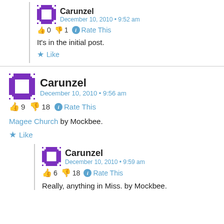Carunzel
December 10, 2010 • 9:52 am
👍 0 👎 1 ℹ Rate This
It's in the initial post.
★ Like
Carunzel
December 10, 2010 • 9:56 am
👍 9 👎 18 ℹ Rate This
Magee Church by Mockbee.
★ Like
Carunzel
December 10, 2010 • 9:59 am
👍 6 👎 18 ℹ Rate This
Really, anything in Miss. by Mockbee.